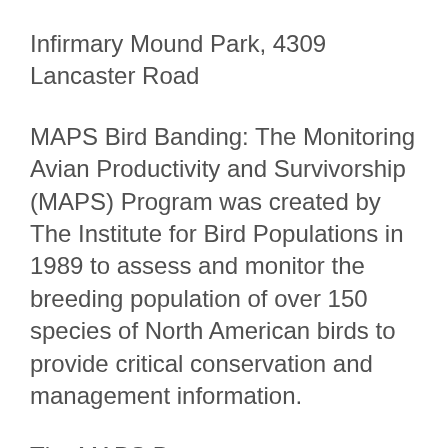Infirmary Mound Park, 4309 Lancaster Road
MAPS Bird Banding: The Monitoring Avian Productivity and Survivorship (MAPS) Program was created by The Institute for Bird Populations in 1989 to assess and monitor the breeding population of over 150 species of North American birds to provide critical conservation and management information.
The MAPS Program uses a standardized mist netting and banding program.